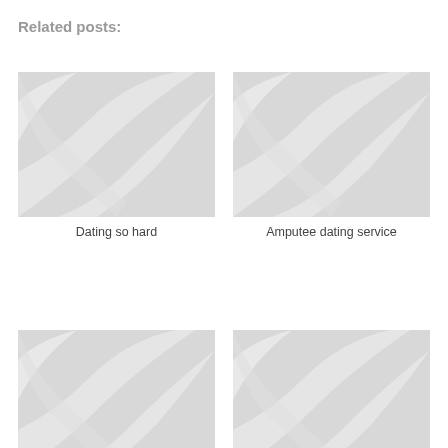Related posts:
[Figure (illustration): Placeholder image with grey swirl pattern]
Dating so hard
[Figure (illustration): Placeholder image with grey swirl pattern]
Amputee dating service
[Figure (illustration): Placeholder image with grey swirl pattern]
[Figure (illustration): Placeholder image with grey swirl pattern]